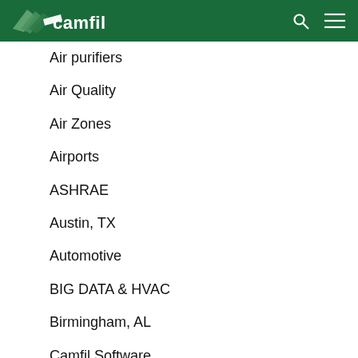Camfil
Air purifiers
Air Quality
Air Zones
Airports
ASHRAE
Austin, TX
Automotive
BIG DATA & HVAC
Birmingham, AL
Camfil Software
Carolinas, SC/NC
CITY M
Colorado Springs, CO
Commercial Office Buildings and Retail Spaces